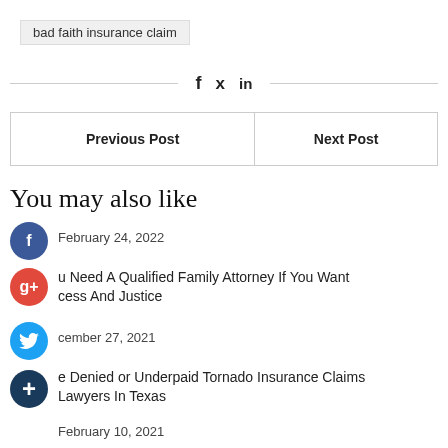bad faith insurance claim
[Figure (other): Social share icons: Facebook (f), Twitter (bird), LinkedIn (in) with horizontal divider lines]
| Previous Post | Next Post |
| --- | --- |
You may also like
February 24, 2022
u Need A Qualified Family Attorney If You Want cess And Justice
cember 27, 2021
e Denied or Underpaid Tornado Insurance Claims Lawyers In Texas
February 10, 2021